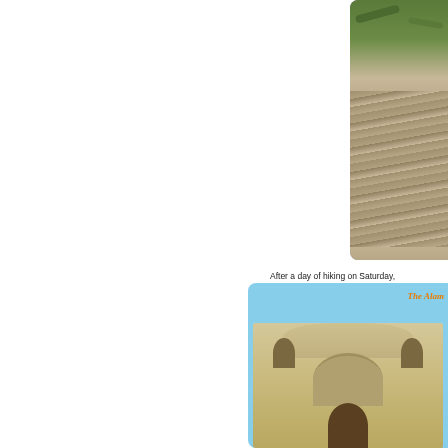[Figure (photo): Partial view of rocky terrain with vegetation at top, photo positioned at upper right corner of page]
After a day of hiking on Saturday, downtown San Antonio. Preston couldn't miss a photo oppo wasn't allowed to go inside. The Ala Texas history. The most fun Preston had was at Ri along the San Antonio River in dow shops and resturants along the walk.
[Figure (photo): Photo of The Alamo facade against blue sky, with orange italic text 'The Alamo' in upper right. Shows the distinctive curved top facade with arched windows and doorway.]